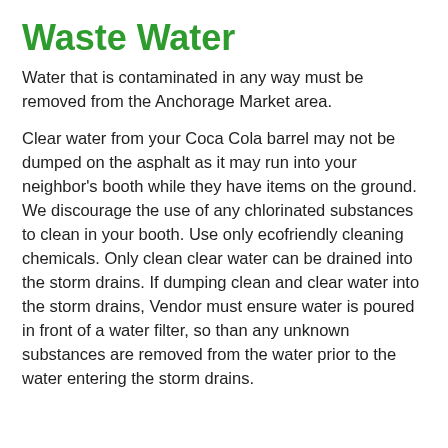Waste Water
Water that is contaminated in any way must be removed from the Anchorage Market area.
Clear water from your Coca Cola barrel may not be dumped on the asphalt as it may run into your neighbor's booth while they have items on the ground. We discourage the use of any chlorinated substances to clean in your booth. Use only ecofriendly cleaning chemicals. Only clean clear water can be drained into the storm drains. If dumping clean and clear water into the storm drains, Vendor must ensure water is poured in front of a water filter, so than any unknown substances are removed from the water prior to the water entering the storm drains.